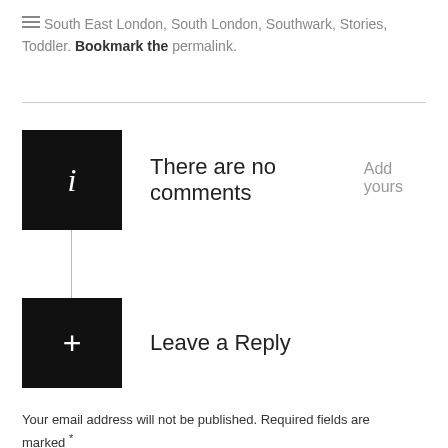South East London, South London, Southwark, Stories, Toddler. Bookmark the permalink.
There are no comments  Add yours
Leave a Reply
Your email address will not be published. Required fields are marked *
Comment *